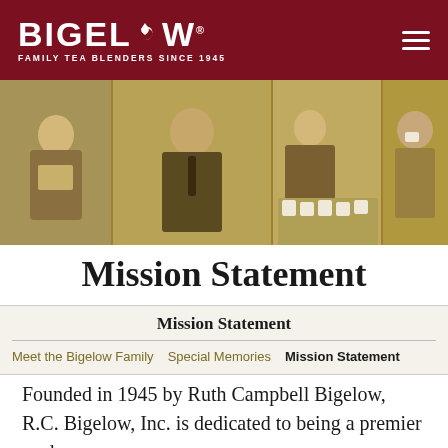BIGELOW® FAMILY TEA BLENDERS SINCE 1945
[Figure (photo): Sepia-toned collage of four vintage photos: a woman reviewing papers, a man in a suit smiling at a conference, a woman pouring tea with many mugs on a table, and a man drinking tea.]
Mission Statement
Mission Statement
Meet the Bigelow Family   Special Memories   Mission Statement
Founded in 1945 by Ruth Campbell Bigelow, R.C. Bigelow, Inc. is dedicated to being a premier packer